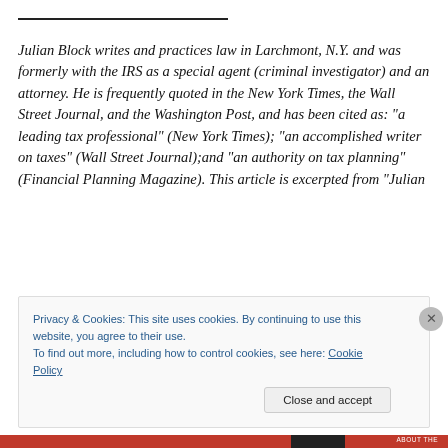Julian Block writes and practices law in Larchmont, N.Y. and was formerly with the IRS as a special agent (criminal investigator) and an attorney. He is frequently quoted in the New York Times, the Wall Street Journal, and the Washington Post, and has been cited as: “a leading tax professional” (New York Times); “an accomplished writer on taxes” (Wall Street Journal);and “an authority on tax planning” (Financial Planning Magazine). This article is excerpted from “Julian
Privacy & Cookies: This site uses cookies. By continuing to use this website, you agree to their use.
To find out more, including how to control cookies, see here: Cookie Policy
Close and accept